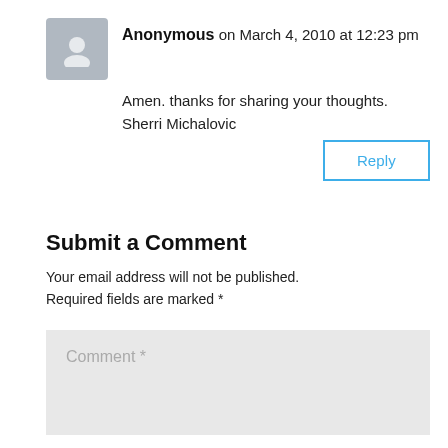Anonymous on March 4, 2010 at 12:23 pm
Amen. thanks for sharing your thoughts. Sherri Michalovic
Reply
Submit a Comment
Your email address will not be published. Required fields are marked *
Comment *